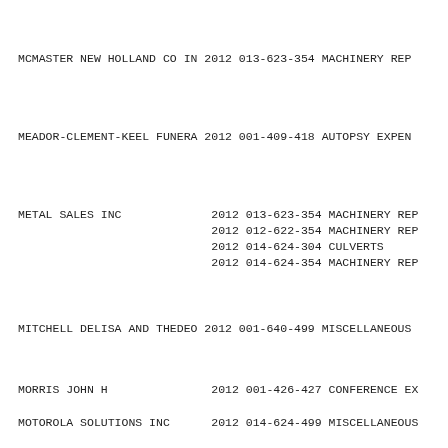MCMASTER NEW HOLLAND CO IN 2012 013-623-354 MACHINERY REP
MEADOR-CLEMENT-KEEL FUNERA 2012 001-409-418 AUTOPSY EXPEN
METAL SALES INC                2012 013-623-354 MACHINERY REP
                               2012 012-622-354 MACHINERY REP
                               2012 014-624-304 CULVERTS
                               2012 014-624-354 MACHINERY REP
MITCHELL DELISA AND THEDEO 2012 001-640-499 MISCELLANEOUS
MORRIS JOHN H                  2012 001-426-427 CONFERENCE EX
MOTOROLA SOLUTIONS INC      2012 014-624-499 MISCELLANEOUS